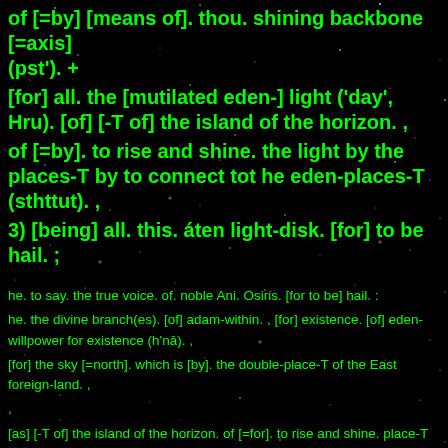of [=by] [means of]. thou. shining backbone [=axis] (pst'). +
[for] all. the [mutilated eden-] light ('day', Hru). [of] [-T of] the island of the horizon. ,
of [=by]. to rise and shine. the light by the places-T by to connect tot he eden-places-T (sthttut). ,
3) [being] all. this. áten light-disk. [for] to be hail. ;
he. to say. the true voice. of. noble Ani. Osiris. [for to be] hail. :
he. the divine branch(es). [of] adam-within. , [for] existence. [of] eden-willpower for existence (h'nā). ,
[for] the sky [=north]. which is [by]. the double-place-T of the East foreign-land. ,
[as] [-T of] the island of the horizon. of [=for]. to rise and shine. place-T of he [eden] for the kh-house. ,
[for?] Rā. [by, being?] the praised t'ua-star. ;